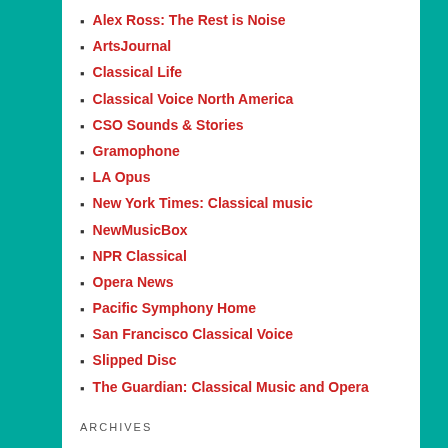Alex Ross: The Rest is Noise
ArtsJournal
Classical Life
Classical Voice North America
CSO Sounds & Stories
Gramophone
LA Opus
New York Times: Classical music
NewMusicBox
NPR Classical
Opera News
Pacific Symphony Home
San Francisco Classical Voice
Slipped Disc
The Guardian: Classical Music and Opera
ARCHIVES
August 2022
July 2022
June 2022
May 2022